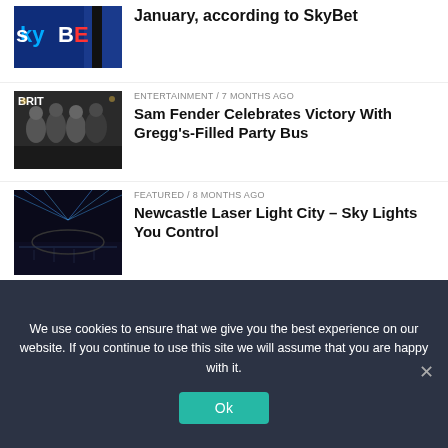[Figure (photo): SkyBet logo - partial article image at top, cut off]
January, according to SkyBet
[Figure (photo): Sam Fender and bandmates at Brit Awards]
ENTERTAINMENT / 7 months ago
Sam Fender Celebrates Victory With Gregg’s-Filled Party Bus
[Figure (photo): Newcastle laser light show at night]
FEATURED / 8 months ago
Newcastle Laser Light City – Sky Lights You Control
[Figure (other): Dark footer background with arc shape]
We use cookies to ensure that we give you the best experience on our website. If you continue to use this site we will assume that you are happy with it.